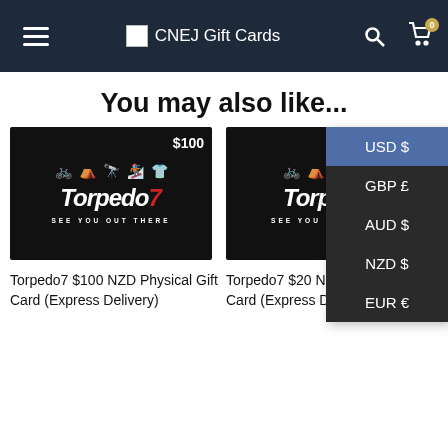CNEJ Gift Cards
You may also like...
[Figure (screenshot): Currency dropdown menu showing USD $, GBP £, AUD $, NZD $, EUR € options with USD $ highlighted in blue]
[Figure (photo): Torpedo7 $100 NZD Physical Gift Card product image — black card with sport icons and Torpedo7 logo]
Torpedo7 $100 NZD Physical Gift Card (Express Delivery)
[Figure (photo): Torpedo7 $20 NZD Physical Gift Card product image — black card with sport icons and Torpedo7 logo (partially visible)]
Torpedo7 $20 NZD Physical Gift Card (Express Delivery)